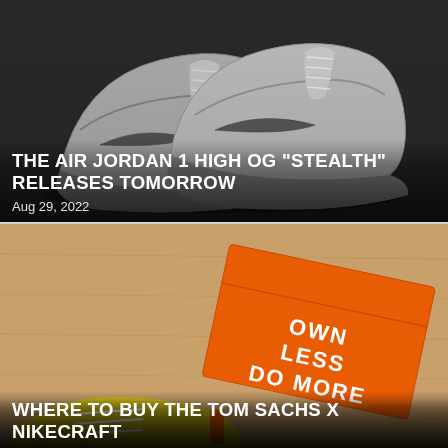[Figure (photo): Gray Nike Air Jordan 1 High OG sneakers photographed on a dark concrete surface, showing a pair of grey and white high-top basketball shoes with Nike swoosh logo]
THE AIR JORDAN 1 HIGH OG “STEALTH” RELEASES TOMORROW
Aug 29, 2022
[Figure (photo): Orange Tom Sachs NikeCraft shoebox with 'OWN LESS DO MORE' text on a wooden surface, with yellow/colorful Tom Sachs x NikeCraft sneakers visible in the foreground]
WHERE TO BUY THE TOM SACHS X NIKECRAFT